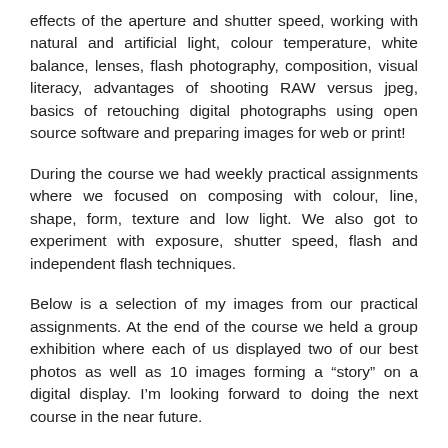effects of the aperture and shutter speed, working with natural and artificial light, colour temperature, white balance, lenses, flash photography, composition, visual literacy, advantages of shooting RAW versus jpeg, basics of retouching digital photographs using open source software and preparing images for web or print!
During the course we had weekly practical assignments where we focused on composing with colour, line, shape, form, texture and low light. We also got to experiment with exposure, shutter speed, flash and independent flash techniques.
Below is a selection of my images from our practical assignments. At the end of the course we held a group exhibition where each of us displayed two of our best photos as well as 10 images forming a “story” on a digital display. I’m looking forward to doing the next course in the near future.